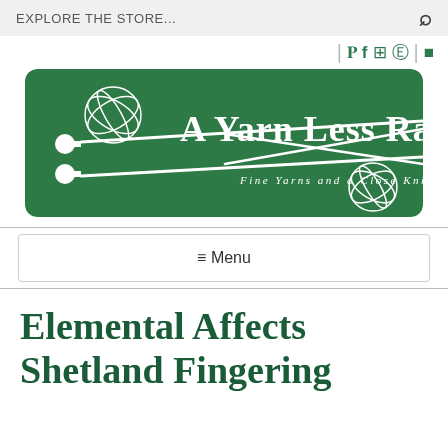EXPLORE THE STORE...
[Figure (logo): A Yarn Less Raveled — Fine Yarns and a Close Knit Community logo on green background with knitting needles and yarn balls]
≡ Menu
Elemental Affects Shetland Fingering